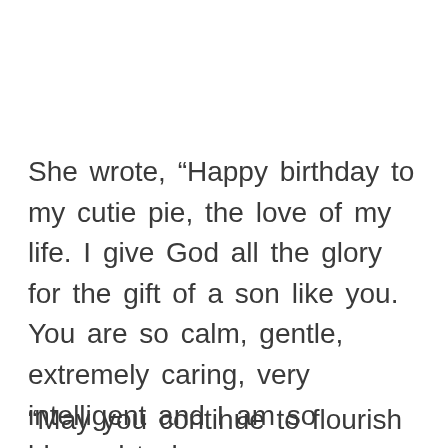She wrote, “Happy birthday to my cutie pie, the love of my life. I give God all the glory for the gift of a son like you. You are so calm, gentle, extremely caring, very intelligent and I am so blessed to be your mum
“May you continue to flourish in God’s